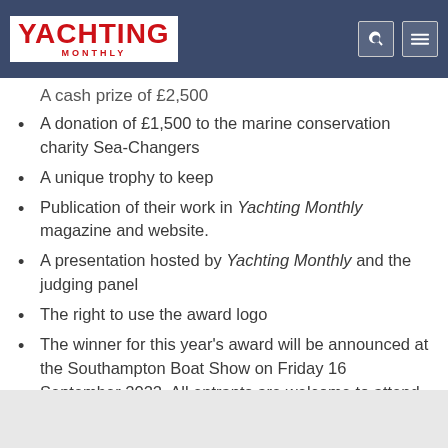YACHTING MONTHLY
A cash prize of £2,500
A donation of £1,500 to the marine conservation charity Sea-Changers
A unique trophy to keep
Publication of their work in Yachting Monthly magazine and website.
A presentation hosted by Yachting Monthly and the judging panel
The right to use the award logo
The winner for this year's award will be announced at the Southampton Boat Show on Friday 16 September 2022. All entrants are welcome to attend, but you will be notified at least one week prior to the